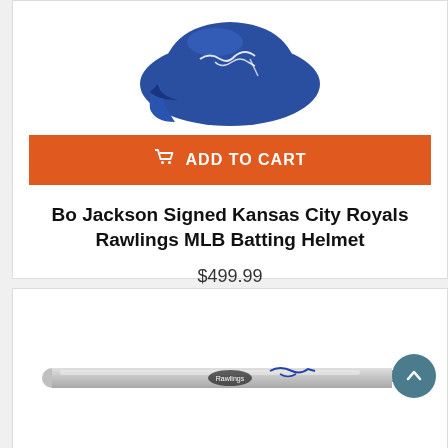[Figure (photo): Blue Kansas City Royals MLB batting helmet with white autograph signature on top]
ADD TO CART
Bo Jackson Signed Kansas City Royals Rawlings MLB Batting Helmet
$499.99
3 left in stock
[Figure (photo): Silver/chrome baseball bat with brand logo and blue autograph signature]